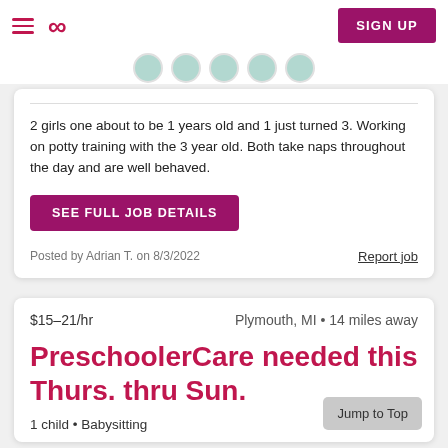Care.com navigation bar with hamburger menu, logo, and SIGN UP button
2 girls one about to be 1 years old and 1 just turned 3. Working on potty training with the 3 year old. Both take naps throughout the day and are well behaved.
SEE FULL JOB DETAILS
Posted by Adrian T. on 8/3/2022
Report job
$15–21/hr	Plymouth, MI • 14 miles away
PreschoolerCare needed this Thurs. thru Sun.
1 child • Babysitting